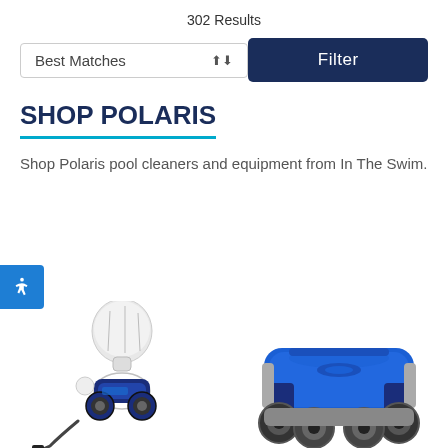302 Results
Best Matches
Filter
SHOP POLARIS
Shop Polaris pool cleaners and equipment from In The Swim.
[Figure (photo): Two Polaris pool cleaner products shown side by side: a white pressure-side cleaner with bag on the left, and a blue robotic pool cleaner on the right.]